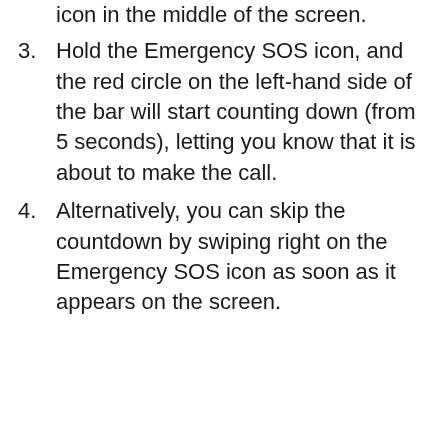icon in the middle of the screen.
3. Hold the Emergency SOS icon, and the red circle on the left-hand side of the bar will start counting down (from 5 seconds), letting you know that it is about to make the call.
4. Alternatively, you can skip the countdown by swiping right on the Emergency SOS icon as soon as it appears on the screen.